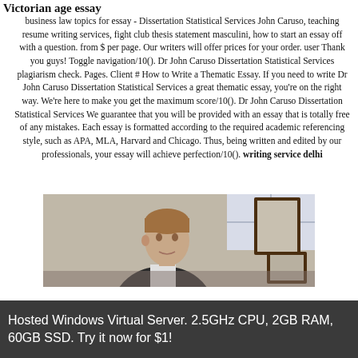Victorian age essay
business law topics for essay - Dissertation Statistical Services John Caruso, teaching resume writing services, fight club thesis statement masculini, how to start an essay off with a question. from $ per page. Our writers will offer prices for your order. user Thank you guys! Toggle navigation/10(). Dr John Caruso Dissertation Statistical Services plagiarism check. Pages. Client # How to Write a Thematic Essay. If you need to write Dr John Caruso Dissertation Statistical Services a great thematic essay, you’re on the right way. We’re here to make you get the maximum score/10(). Dr John Caruso Dissertation Statistical Services We guarantee that you will be provided with an essay that is totally free of any mistakes. Each essay is formatted according to the required academic referencing style, such as APA, MLA, Harvard and Chicago. Thus, being written and edited by our professionals, your essay will achieve perfection/10(). writing service delhi
[Figure (photo): A man's head and upper body visible, with framed pictures on the wall behind him]
Hosted Windows Virtual Server. 2.5GHz CPU, 2GB RAM, 60GB SSD. Try it now for $1!